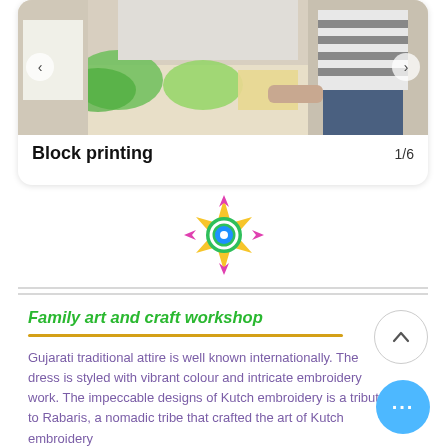[Figure (photo): Photo of people doing block printing workshop, showing hands working on colorful painted papers on a table]
Block printing
1/6
[Figure (illustration): Decorative floral mandala icon with pink, yellow and green colors]
Family art and craft workshop
Gujarati traditional attire is well known internationally. The dress is styled with vibrant colour and intricate embroidery work. The impeccable designs of Kutch embroidery is a tribute to Rabaris, a nomadic tribe that crafted the art of Kutch embroidery
Kutch embroidery is mainly done in colours such as